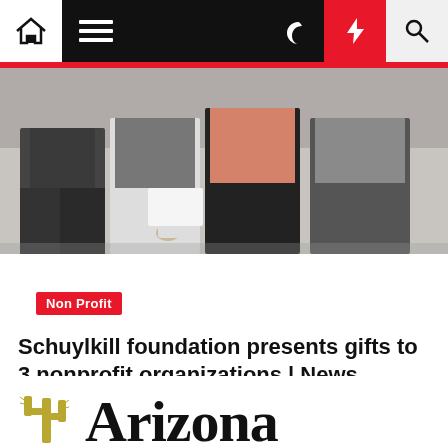Navigation bar with home, menu, moon, lightning, and search icons
[Figure (photo): Group of people standing, photo cropped at torso level, indoor setting]
Non Profit
Schuylkill foundation presents gifts to 3 nonprofit organizations | News
Christel Deskins  2 years ago
[Figure (logo): Arizona newspaper logo with cactus icon and gothic/blackletter Arizona text]